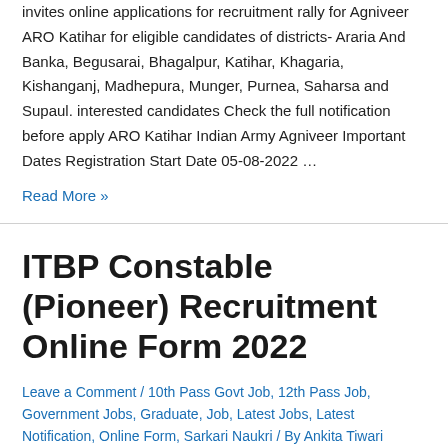invites online applications for recruitment rally for Agniveer ARO Katihar for eligible candidates of districts- Araria And Banka, Begusarai, Bhagalpur, Katihar, Khagaria, Kishanganj, Madhepura, Munger, Purnea, Saharsa and Supaul. interested candidates Check the full notification before apply ARO Katihar Indian Army Agniveer Important Dates Registration Start Date 05-08-2022 ...
Read More »
ITBP Constable (Pioneer) Recruitment Online Form 2022
Leave a Comment / 10th Pass Govt Job, 12th Pass Job, Government Jobs, Graduate, Job, Latest Jobs, Latest Notification, Online Form, Sarkari Naukri / By Ankita Tiwari
Indo Tibetan Border Police (ITBP) Force invites online